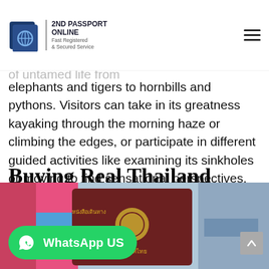2ND PASSPORT ONLINE | Fast Registered & Secured Service
biodiversity to the Amazon rainforest. Its central importance lies in a five-square kilometer zone, home to a gigantic grouping of untamed life from elephants and tigers to hornbills and pythons. Visitors can take in its greatness kayaking through the morning haze or climbing the edges, or participate in different guided activities like examining its sinkholes or moving to find sensational perspectives.
Buying Real Thailand Passport online
We offer all those who need any sort with respect to reports to look to buy Thailand Passports no
[Figure (photo): Photo showing a Thai passport (dark red/maroon cover with gold emblem and Thai script) alongside colorful items, partially visible]
WhatsApp US